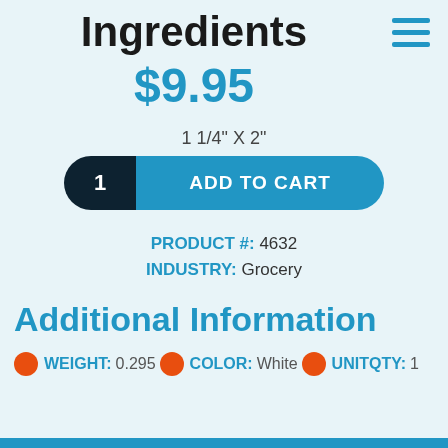Ingredients
$9.95
1 1/4" X 2"
[Figure (other): Add to cart button with quantity selector showing '1' on dark background and 'ADD TO CART' on blue background]
PRODUCT #: 4632
INDUSTRY: Grocery
Additional Information
WEIGHT: 0.295   COLOR: White   UNITQTY: 1